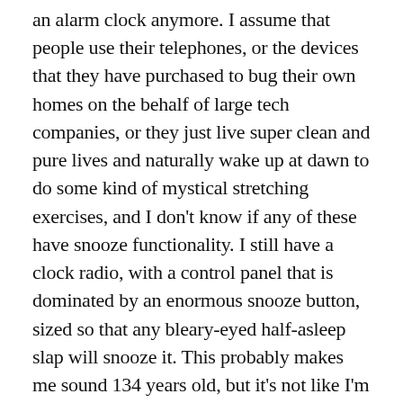an alarm clock anymore. I assume that people use their telephones, or the devices that they have purchased to bug their own homes on the behalf of large tech companies, or they just live super clean and pure lives and naturally wake up at dawn to do some kind of mystical stretching exercises, and I don't know if any of these have snooze functionality. I still have a clock radio, with a control panel that is dominated by an enormous snooze button, sized so that any bleary-eyed half-asleep slap will snooze it. This probably makes me sound 134 years old, but it's not like I'm simply holding on to my younger days: I also operate a wind-powered vehicle, own a collection of spokeshaves, and most of my outerwear was designed for the Klondike Gold Rush. Sometimes I feel like I was born for a different time. Sometimes I feel like I was just born to be awake at a different time than everyone else.